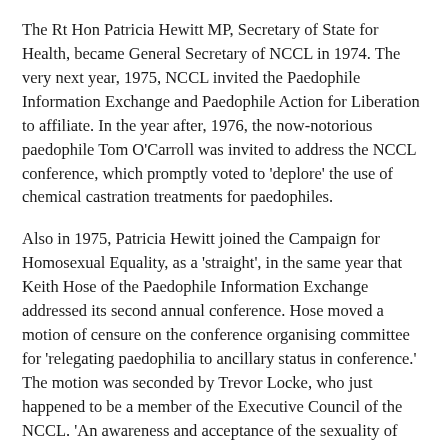The Rt Hon Patricia Hewitt MP, Secretary of State for Health, became General Secretary of NCCL in 1974. The very next year, 1975, NCCL invited the Paedophile Information Exchange and Paedophile Action for Liberation to affiliate. In the year after, 1976, the now-notorious paedophile Tom O'Carroll was invited to address the NCCL conference, which promptly voted to 'deplore' the use of chemical castration treatments for paedophiles.
Also in 1975, Patricia Hewitt joined the Campaign for Homosexual Equality, as a 'straight', in the same year that Keith Hose of the Paedophile Information Exchange addressed its second annual conference. Hose moved a motion of censure on the conference organising committee for 'relegating paedophilia to ancillary status in conference.' The motion was seconded by Trevor Locke, who just happened to be a member of the Executive Council of the NCCL. 'An awareness and acceptance of the sexuality of children is an essential part of the liberation of the young homosexual,' the motion went on. It was duly passed.
Jack Dromey, whom Harriet Harman married in 1982, and